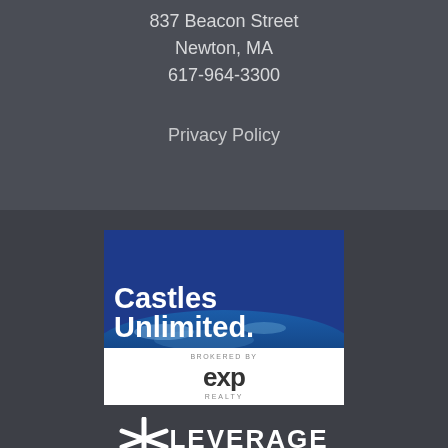837 Beacon Street
Newton, MA
617-964-3300
Privacy Policy
[Figure (logo): Castles Unlimited logo with globe image, brokered by eXp Realty]
[Figure (logo): Leverage logo with asterisk/star symbol and text LEVERAGE]